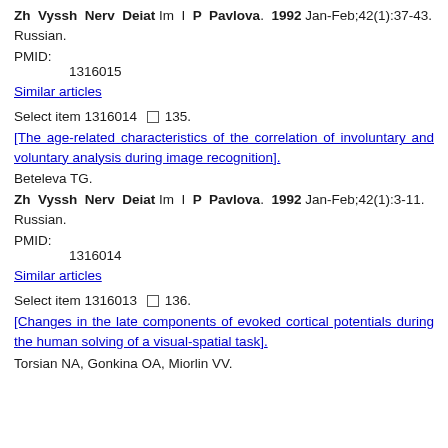Zh Vyssh Nerv Deiat Im I P Pavlova. 1992 Jan-Feb;42(1):37-43. Russian.
PMID:
      1316015
Similar articles
Select item 1316014 ☐ 135.
[The age-related characteristics of the correlation of involuntary and voluntary analysis during image recognition].
Beteleva TG.
Zh Vyssh Nerv Deiat Im I P Pavlova. 1992 Jan-Feb;42(1):3-11. Russian.
PMID:
      1316014
Similar articles
Select item 1316013 ☐ 136.
[Changes in the late components of evoked cortical potentials during the human solving of a visual-spatial task].
Torsian NA, Gonkina OA, Miorlin VV.